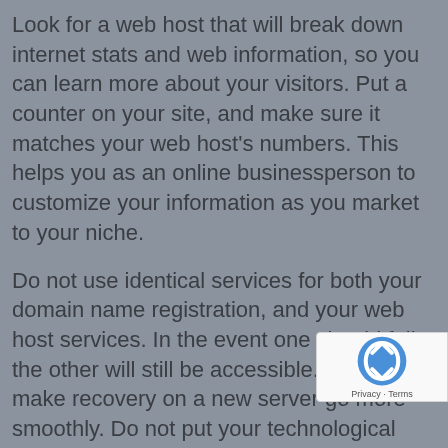Look for a web host that will break down internet stats and web information, so you can learn more about your visitors. Put a counter on your site, and make sure it matches your web host's numbers. This helps you as an online businessperson to customize your information as you market to your niche.
Do not use identical services for both your domain name registration, and your web host services. In the event one should fail, the other will still be accessible. This will make recovery on a new server go more smoothly. Do not put your technological faith into one web entity. This places the control of your domain in your hands, rather than your host's.
Remember that you often get what you pay for with free hosting sites. You will have to display ads on your site. This means you don't have any control over the ads that are displayed. Ads will pop up randomly, completely outside of your control. Not only will this give your site an unprofessional appearance, your viewers will likely resent the intrusion.
Choose a hosting service that will accommodate your eventual growth. Will you have the storage space to expand